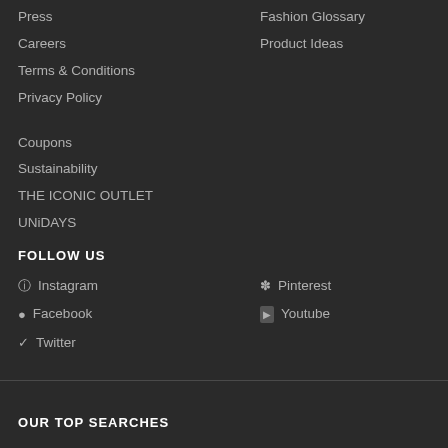Press
Fashion Glossary
Careers
Product Ideas
Terms & Conditions
Privacy Policy
Coupons
Sustainability
THE ICONIC OUTLET
UNiDAYS
FOLLOW US
Instagram
Pinterest
Facebook
Youtube
Twitter
OUR TOP SEARCHES